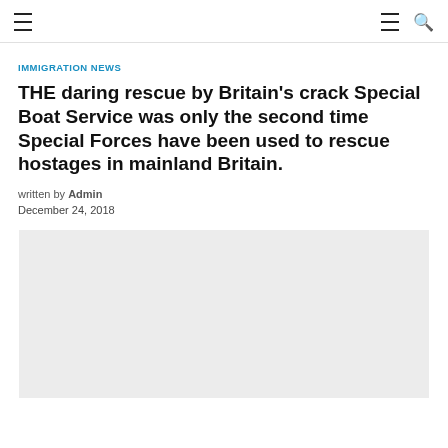≡  ≡ 🔍
IMMIGRATION NEWS
THE daring rescue by Britain's crack Special Boat Service was only the second time Special Forces have been used to rescue hostages in mainland Britain.
written by Admin
December 24, 2018
[Figure (photo): Light grey placeholder image area for article photo]